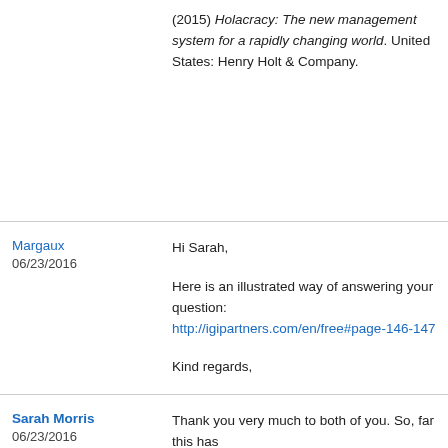(2015) Holacracy: The new management system for a rapidly changing world. United States: Henry Holt & Company.
Margaux
06/23/2016

Hi Sarah,

Here is an illustrated way of answering your question: http://igipartners.com/en/...free#page-146-147

Kind regards,
Sarah Morris
06/23/2016

Thank you very much to both of you. So, far this has